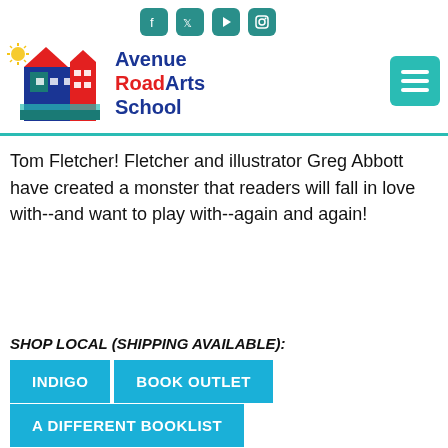Avenue Road Arts School
[Figure (logo): Avenue Road Arts School logo with illustrated building and social media icons (Facebook, Twitter, YouTube, Instagram) in teal squares]
Tom Fletcher! Fletcher and illustrator Greg Abbott have created a monster that readers will fall in love with--and want to play with--again and again!
SHOP LOCAL (SHIPPING AVAILABLE):
INDIGO
BOOK OUTLET
A DIFFERENT BOOKLIST